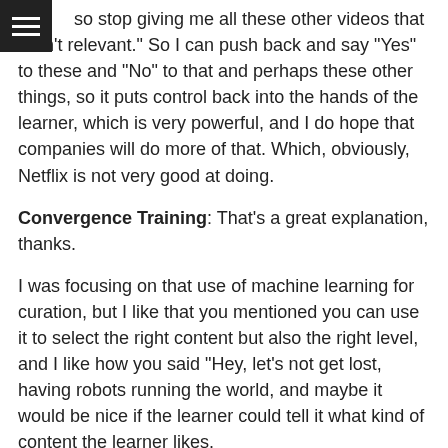so stop giving me all these other videos that aren't relevant." So I can push back and say "Yes" to these and "No" to that and perhaps these other things, so it puts control back into the hands of the learner, which is very powerful, and I do hope that companies will do more of that. Which, obviously, Netflix is not very good at doing.
Convergence Training: That's a great explanation, thanks.
I was focusing on that use of machine learning for curation, but I like that you mentioned you can use it to select the right content but also the right level, and I like how you said "Hey, let's not get lost, having robots running the world, and maybe it would be nice if the learner could tell it what kind of content the learner likes.
Dr. Lo: Well, I think my take is always that machine...